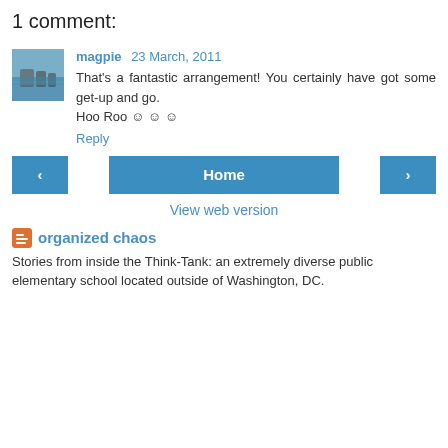1 comment:
[Figure (photo): Avatar photo of commenter magpie showing a seascape/coastal scene]
magpie 23 March, 2011
That's a fantastic arrangement! You certainly have got some get-up and go.
Hoo Roo ☺ ☺ ☺
Reply
‹
Home
›
View web version
organized chaos
Stories from inside the Think-Tank: an extremely diverse public elementary school located outside of Washington, DC.